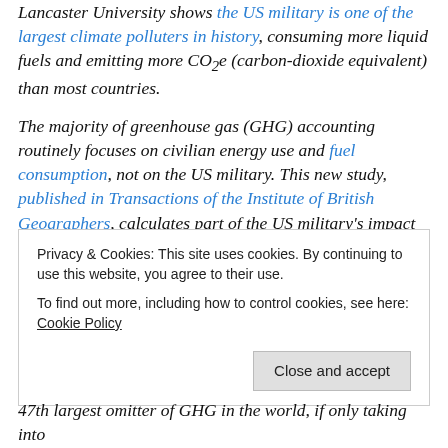Research by social scientists from Durham University and Lancaster University shows the US military is one of the largest climate polluters in history, consuming more liquid fuels and emitting more CO2e (carbon-dioxide equivalent) than most countries.
The majority of greenhouse gas (GHG) accounting routinely focuses on civilian energy use and fuel consumption, not on the US military. This new study, published in Transactions of the Institute of British Geographers, calculates part of the US military's impact on climate change through critical analysis of its global
Privacy & Cookies: This site uses cookies. By continuing to use this website, you agree to their use.
To find out more, including how to control cookies, see here: Cookie Policy
47th largest omitter of GHG in the world, if only taking into